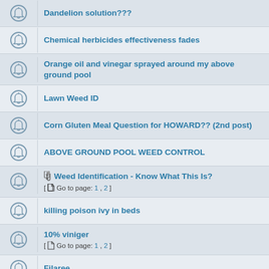Dandelion solution???
Chemical herbicides effectiveness fades
Orange oil and vinegar sprayed around my above ground pool
Lawn Weed ID
Corn Gluten Meal Question for HOWARD?? (2nd post)
ABOVE GROUND POOL WEED CONTROL
Weed Identification - Know What This Is? [ Go to page: 1, 2 ]
killing poison ivy in beds
10% viniger [ Go to page: 1, 2 ]
Filaree
Monsanto Corn Gluten Meal
Nutsedge
Decreasing effectiveness of chemical herbicides